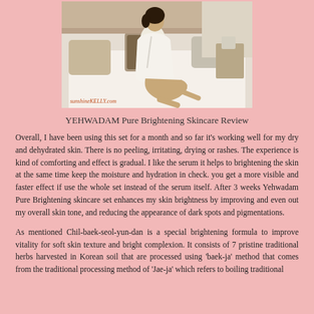[Figure (photo): Woman in white robe sitting on a bed, with pillows in the background. Watermark reads sunshineKELLY.com]
YEHWADAM Pure Brightening Skincare Review
Overall, I have been using this set for a month and so far it’s working well for my dry and dehydrated skin. There is no peeling, irritating, drying or rashes. The experience is kind of comforting and effect is gradual. I like the serum it helps to brightening the skin at the same time keep the moisture and hydration in check. you get a more visible and faster effect if use the whole set instead of the serum itself. After 3 weeks Yehwadam Pure Brightening skincare set enhances my skin brightness by improving and even out my overall skin tone, and reducing the appearance of dark spots and pigmentations.
As mentioned Chil-baek-seol-yun-dan is a special brightening formula to improve vitality for soft skin texture and bright complexion. It consists of 7 pristine traditional herbs harvested in Korean soil that are processed using ‘baek-ja’ method that comes from the traditional processing method of ‘Jae-ja’ which refers to boiling traditional